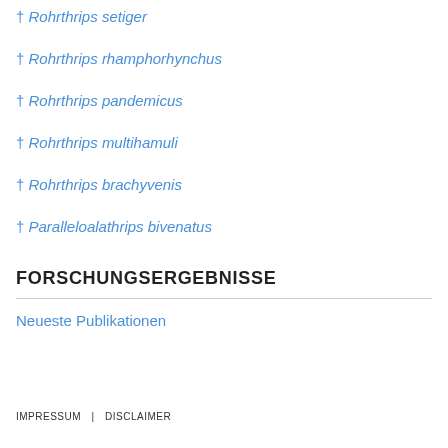† Rohrthrips setiger
† Rohrthrips rhamphorhynchus
† Rohrthrips pandemicus
† Rohrthrips multihamuli
† Rohrthrips brachyvenis
† Paralleloalathrips bivenatus
FORSCHUNGSERGEBNISSE
Neueste Publikationen
IMPRESSUM   DISCLAIMER